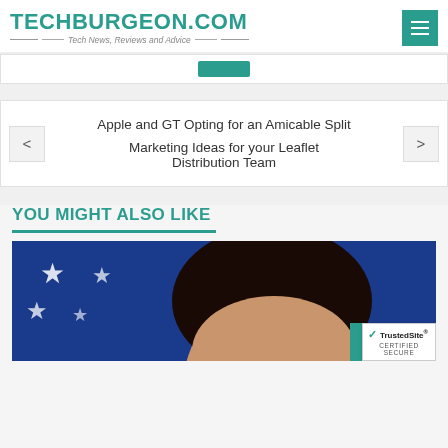TECHBURGEON.COM — Tech News, Reviews and Advice
[Figure (screenshot): Partially visible button strip at top of page content area]
Apple and GT Opting for an Amicable Split
Marketing Ideas for your Leaflet Distribution Team
YOU MIGHT ALSO LIKE
[Figure (photo): Photo of an Asian woman in front of an American flag, partially cropped showing face and top of head]